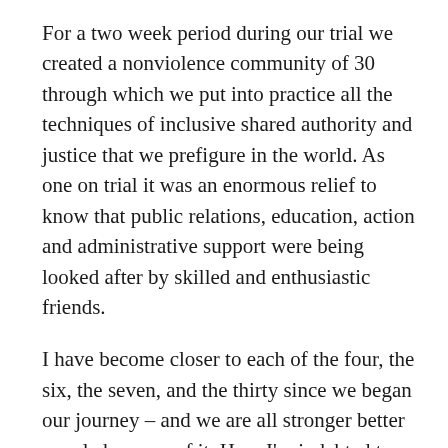For a two week period during our trial we created a nonviolence community of 30 through which we put into practice all the techniques of inclusive shared authority and justice that we prefigure in the world. As one on trial it was an enormous relief to know that public relations, education, action and administrative support were being looked after by skilled and enthusiastic friends.
I have become closer to each of the four, the six, the seven, and the thirty since we began our journey – and we are all stronger better people because of it. Here I'm indebted to Sean O'Reilly who gave me unflinchingly good advice during periods of conflict within. Ciaron O'Reilly has been outstanding in his support for our group, including personal attendance at Pine Gap in October 2006.
5/ The weird part. For me a central part of my